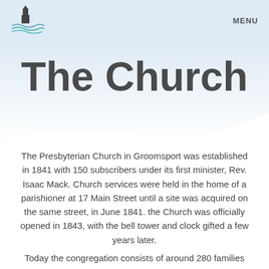MENU
[Figure (logo): Church logo with bell tower silhouette and wave/water below]
The Church
The Presbyterian Church in Groomsport was established in 1841 with 150 subscribers under its first minister, Rev. Isaac Mack. Church services were held in the home of a parishioner at 17 Main Street until a site was acquired on the same street, in June 1841. the Church was officially opened in 1843, with the bell tower and clock gifted a few years later.
Today the congregation consists of around 280 families